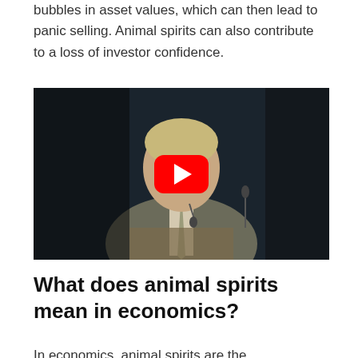bubbles in asset values, which can then lead to panic selling. Animal spirits can also contribute to a loss of investor confidence.
[Figure (photo): A man in a grey suit speaking at a podium, with a YouTube play button overlay in the center of the image, indicating an embedded video.]
What does animal spirits mean in economics?
In economics, animal spirits are the...